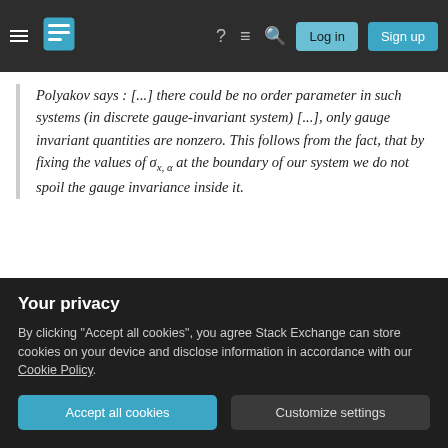Stack Exchange navigation bar with Log in and Sign up buttons
Polyakov says : [...] there could be no order parameter in such systems (in discrete gauge-invariant system) [...], only gauge invariant quantities are nonzero. This follows from the fact, that by fixing the values of σ_{x,α} at the boundary of our system we do not spoil the gauge invariance inside it.
Here σ_{x,α} are the "spin" variables that decorate the links of a Z₂ lattice gauge theory. I would like to understand the last sentence of this statement. Could anyone clarify
Your privacy
By clicking "Accept all cookies", you agree Stack Exchange can store cookies on your device and disclose information in accordance with our Cookie Policy.
Accept all cookies  Customize settings